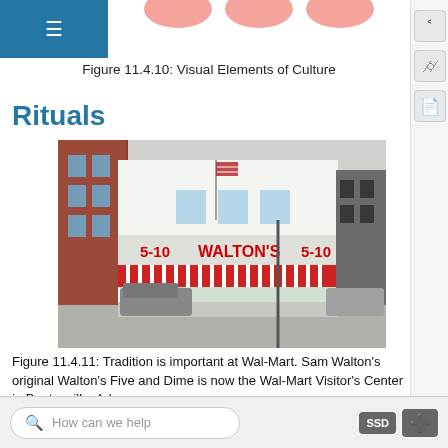Figure 11.4.10: Visual Elements of Culture
Rituals
[Figure (photo): Photograph of Walton's 5-10 store front (original Walton's Five and Dime), a white building with red striped awning and red lettering, with cars parked on the street]
Figure 11.4.11: Tradition is important at Wal-Mart. Sam Walton's original Walton's Five and Dime is now the Wal-Mart Visitor's Center in Bentonville, Arkansas.